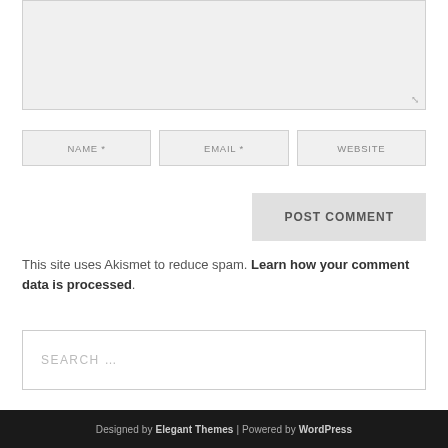[Figure (screenshot): Grey textarea input box with resize handle in bottom right corner]
[Figure (screenshot): Three input fields in a row: NAME *, EMAIL *, WEBSITE]
[Figure (screenshot): POST COMMENT button, grey background, uppercase bold text]
This site uses Akismet to reduce spam. Learn how your comment data is processed.
[Figure (screenshot): Search input field with placeholder text SEARCH ...]
Designed by Elegant Themes | Powered by WordPress